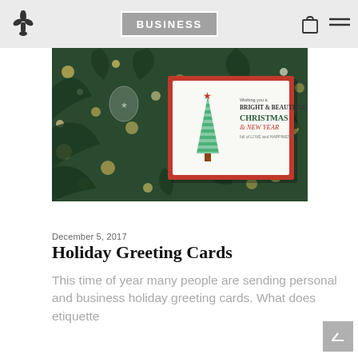BUSINESS
[Figure (photo): Christmas holiday greeting card propped against a decorated Christmas tree with bokeh lights in the background. The card shows a green striped Christmas tree illustration with a red star on top and text reading 'Wishing you a Bright & Beautiful Christmas & New Year full of love and happiness'.]
December 5, 2017
Holiday Greeting Cards
This time of year many people are sending personal and business holiday greeting cards. What does etiquette